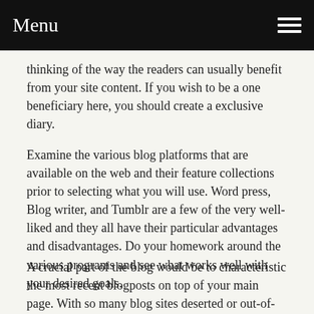Menu
thinking of the way the readers can usually benefit from your site content. If you wish to be a one beneficiary here, you should create a exclusive diary.
Examine the various blog platforms that are available on the web and their feature collections prior to selecting what you will use. Word press, Blog writer, and Tumblr are a few of the very well-liked and they all have their particular advantages and disadvantages. Do your homework around the various programs and see what works well with your desired goals.
A crucial part of the blog would be to characteristic the most recent blogposts on top of your main page. With so many blog sites deserted or out-of-date, it's essential to enable visitors recognize that your own is recent. Using this method, prospective customers may have clean, new content to read through and you will receive the possibility of a more engaged customer base.